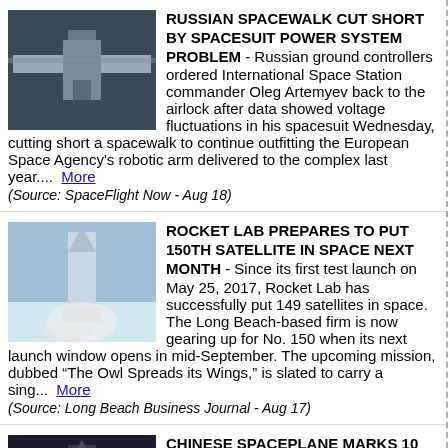[Figure (photo): International Space Station exterior photo]
RUSSIAN SPACEWALK CUT SHORT BY SPACESUIT POWER SYSTEM PROBLEM - Russian ground controllers ordered International Space Station commander Oleg Artemyev back to the airlock after data showed voltage fluctuations in his spacesuit Wednesday, cutting short a spacewalk to continue outfitting the European Space Agency's robotic arm delivered to the complex last year.... More (Source: SpaceFlight Now - Aug 18)
[Figure (photo): Rocket Lab launch photo with smoke and flames]
ROCKET LAB PREPARES TO PUT 150TH SATELLITE IN SPACE NEXT MONTH - Since its first test launch on May 25, 2017, Rocket Lab has successfully put 149 satellites in space. The Long Beach-based firm is now gearing up for No. 150 when its next launch window opens in mid-September. The upcoming mission, dubbed "The Owl Spreads its Wings," is slated to carry a sing... More (Source: Long Beach Business Journal - Aug 17)
[Figure (photo): Chinese rocket launch at night photo]
CHINESE SPACEPLANE MARKS 10 DAYS IN ORBIT - A reusable Chinese spacecraft that may resemble the U.S. military's X-37B spaceplane has logged 10 days in orbit since its Aug. 4 launch, but what it's doing remains a mystery. The